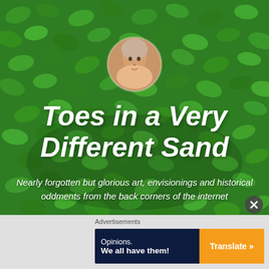[Figure (photo): Green leafy plant background covering upper portion of image, with circular portrait photo of a blonde woman overlaid in the center-top area]
Toes in a Very Different Sand
Nearly forgotten but glorious art, envisionings and historical oddments from the back corners of the internet
Advertisements
[Figure (screenshot): Advertisement banner with dark navy left panel reading 'Opinions. We all have them!' and orange right button reading 'Translate »']